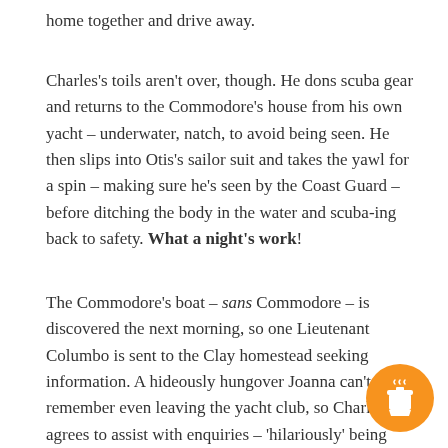home together and drive away.
Charles's toils aren't over, though. He dons scuba gear and returns to the Commodore's house from his own yacht – underwater, natch, to avoid being seen. He then slips into Otis's sailor suit and takes the yawl for a spin – making sure he's seen by the Coast Guard – before ditching the body in the water and scuba-ing back to safety. What a night's work!
The Commodore's boat – sans Commodore – is discovered the next morning, so one Lieutenant Columbo is sent to the Clay homestead seeking information. A hideously hungover Joanna can't remember even leaving the yacht club, so Charles agrees to assist with enquiries – 'hilariously' being squeezed into Columbo's car with the Lieutenant, Sergeant Kramer and new kid on the LAPD block, Sergeant The 'Mac' Albinsky.